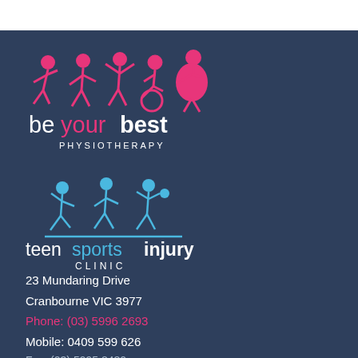[Figure (logo): Be Your Best Physiotherapy logo — pink stick figures including runner, walker, person with weights, wheelchair user, pregnant figure — with text 'be your best PHYSIOTHERAPY' in white and pink on dark navy background]
[Figure (logo): Teen Sports Injury Clinic logo — blue stick figures of teen athletes (dancer, walker, basketball player) above a blue horizontal line — with text 'teen sports injury CLINIC' in white and blue]
23 Mundaring Drive
Cranbourne VIC 3977
Phone: (03) 5996 2693
Mobile: 0409 599 626